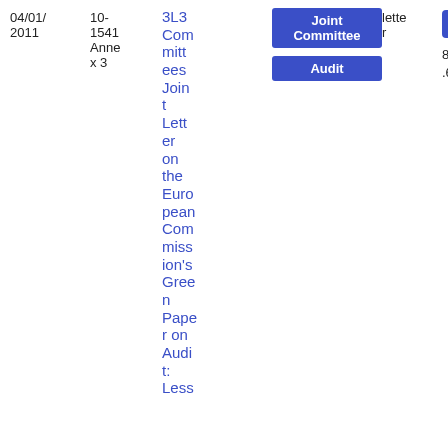| Date | Reference | Title | Tags | Type | File |
| --- | --- | --- | --- | --- | --- |
| 04/01/2011 | 10-1541 Annex 3 | 3L3 Committees Joint Letter on the European Commission's Green Paper on Audit: Less | Joint Committee | Audit | Lette r | PDF 87.69 KB |